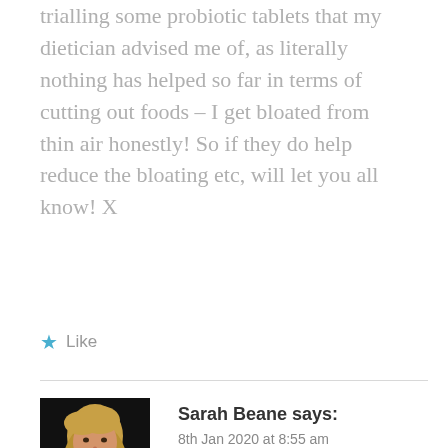trialling some probiotic tablets that my dietician advised me of, as literally nothing has helped so far in terms of cutting out foods – I get bloated from thin air honestly! So if they do help reduce the bloating etc, will let you all know! X
Like
Sarah Beane says:
8th Jan 2020 at 8:55 am
Good luck with the probiotic tablets, I hope they help and give you some relief! X